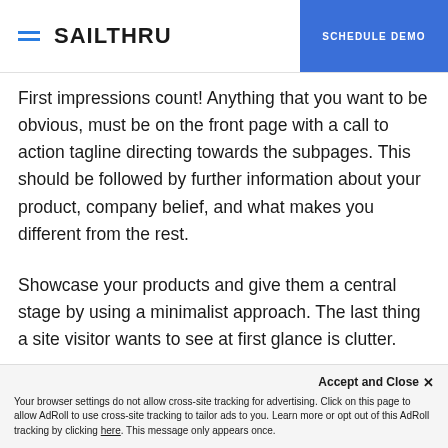SAILTHRU | SCHEDULE DEMO
First impressions count! Anything that you want to be obvious, must be on the front page with a call to action tagline directing towards the subpages. This should be followed by further information about your product, company belief, and what makes you different from the rest.
Showcase your products and give them a central stage by using a minimalist approach. The last thing a site visitor wants to see at first glance is clutter.
Accept and Close ✕
Your browser settings do not allow cross-site tracking for advertising. Click on this page to allow AdRoll to use cross-site tracking to tailor ads to you. Learn more or opt out of this AdRoll tracking by clicking here. This message only appears once.